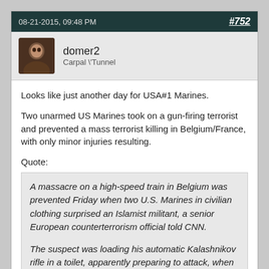08-21-2015, 09:48 PM   #752
domer2
Carpal \"Tunnel
Looks like just another day for USA#1 Marines.

Two unarmed US Marines took on a gun-firing terrorist and prevented a mass terrorist killing in Belgium/France, with only minor injuries resulting.

Quote:
A massacre on a high-speed train in Belgium was prevented Friday when two U.S. Marines in civilian clothing surprised an Islamist militant, a senior European counterterrorism official told CNN.

The suspect was loading his automatic Kalashnikov rifle in a toilet, apparently preparing to attack, when the two Marines confronted him, the source said.

The gunman fired on the Marines with a handgun, the